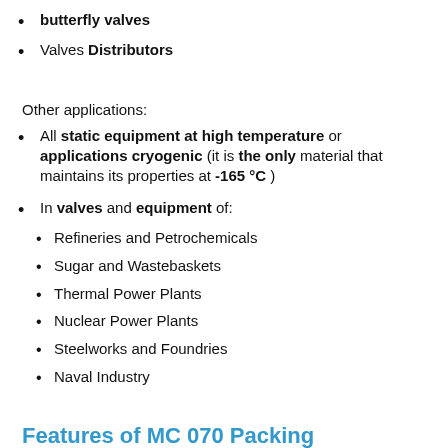butterfly valves
Valves Distributors
Other applications:
All static equipment at high temperature or applications cryogenic (it is the only material that maintains its properties at -165 °C )
In valves and equipment of:
Refineries and Petrochemicals
Sugar and Wastebaskets
Thermal Power Plants
Nuclear Power Plants
Steelworks and Foundries
Naval Industry
Features of MC 070 Packing